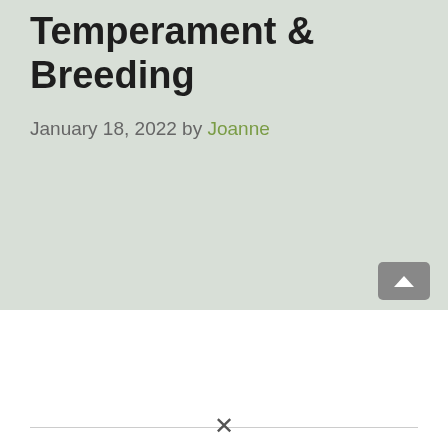Temperament & Breeding
January 18, 2022 by Joanne